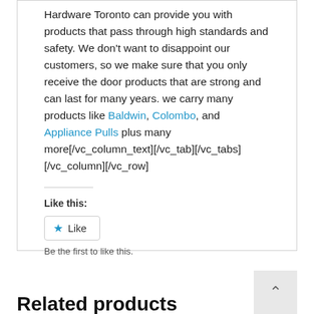Hardware Toronto can provide you with products that pass through high standards and safety. We don't want to disappoint our customers, so we make sure that you only receive the door products that are strong and can last for many years. we carry many products like Baldwin, Colombo, and Appliance Pulls plus many more[/vc_column_text][/vc_tab][/vc_tabs][/vc_column][/vc_row]
Like this:
Like
Be the first to like this.
Related products